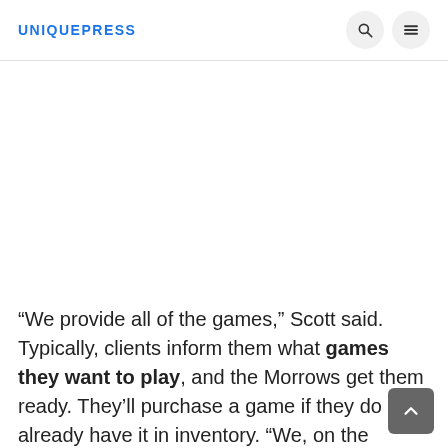UNIQUEPRESS
“We provide all of the games,” Scott said. Typically, clients inform them what games they want to play, and the Morrows get them ready. They’ll purchase a game if they do not already have it in inventory. “We, on the whole, have all of the more modern games,” Sandy